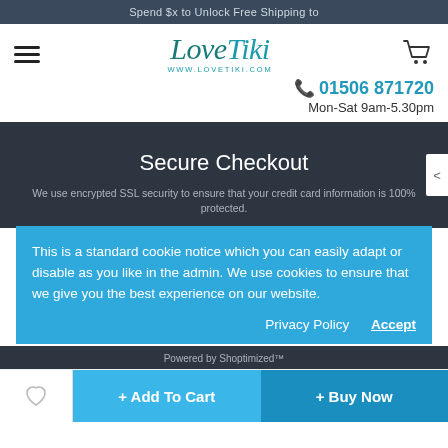Spend $x to Unlock Free Shipping to
[Figure (logo): LoveTiki logo with www.lovetiki.com URL beneath, teal script font]
01506 871720
Mon-Sat 9am-5.30pm
Secure Checkout
We use encrypted SSL security to ensure that your credit card information is 100% protected.
This is a standard cookie notice which you can easily adapt or disable as you like in the admin. We use cookies to ensure that we give you the best experience on our website.
Privacy Policy   Accept
Powered by Shoptimized™
+ Add To Cart   + Buy Now